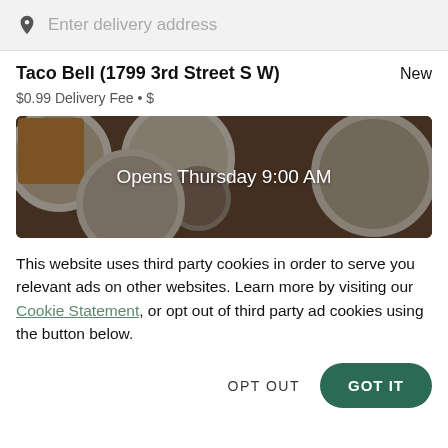Enter delivery address
Taco Bell (1799 3rd Street S W)
New
$0.99 Delivery Fee • $
[Figure (photo): Overhead view of food plates including waffles and other dishes, with overlay text reading 'Opens Thursday 9:00 AM']
This website uses third party cookies in order to serve you relevant ads on other websites. Learn more by visiting our Cookie Statement, or opt out of third party ad cookies using the button below.
OPT OUT
GOT IT